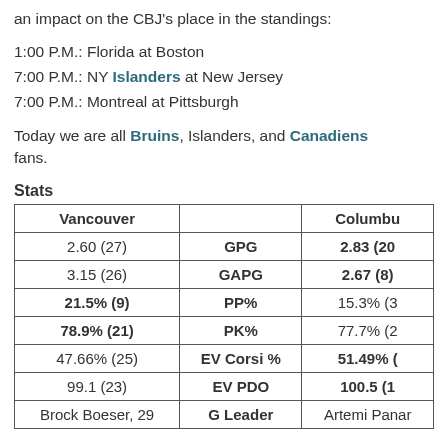an impact on the CBJ's place in the standings:
1:00 P.M.: Florida at Boston
7:00 P.M.: NY Islanders at New Jersey
7:00 P.M.: Montreal at Pittsburgh
Today we are all Bruins, Islanders, and Canadiens fans.
Stats
| Vancouver |  | Columbus |
| --- | --- | --- |
| 2.60 (27) | GPG | 2.83 (20) |
| 3.15 (26) | GAPG | 2.67 (8) |
| 21.5% (9) | PP% | 15.3% (3) |
| 78.9% (21) | PK% | 77.7% (2) |
| 47.66% (25) | EV Corsi % | 51.49% ( |
| 99.1 (23) | EV PDO | 100.5 (1 |
| Brock Boeser, 29 | G Leader | Artemi Panar |